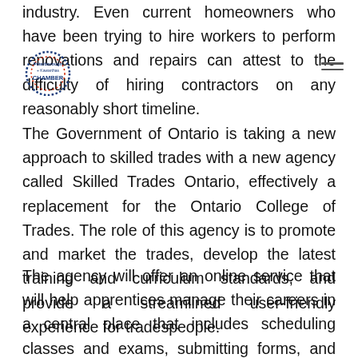industry. Even current homeowners who have been trying to hire workers to perform renovations and repairs can attest to the difficulty of hiring contractors on any reasonably short timeline.
The Government of Ontario is taking a new approach to skilled trades with a new agency called Skilled Trades Ontario, effectively a replacement for the Ontario College of Trades. The role of this agency is to promote and market the trades, develop the latest training and curriculum standards, and provide a streamlined user-friendly experience for tradespeople.
The agency will offer an online service that will help apprentices manage their careers in a central place that includes scheduling classes and exams, submitting forms, and paying fees. It is also expected to reduce processing and registration from 60 days down to 12.
[Figure (logo): Peterborough + Kawarthas Chamber of Commerce logo — circular dotted border in blue/red with text inside]